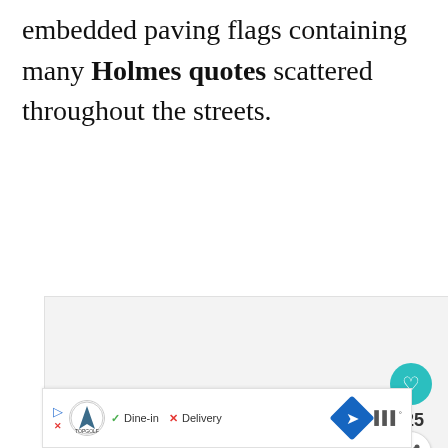embedded paving flags containing many Holmes quotes scattered throughout the streets.
[Figure (screenshot): A media carousel/slideshow embedded area (light gray placeholder) with three dot navigation indicators, a teal heart/like button showing count 25, a share button, and a 'What's Next' panel showing 'Ten Cute Cafes in Sou...' with a thumbnail.]